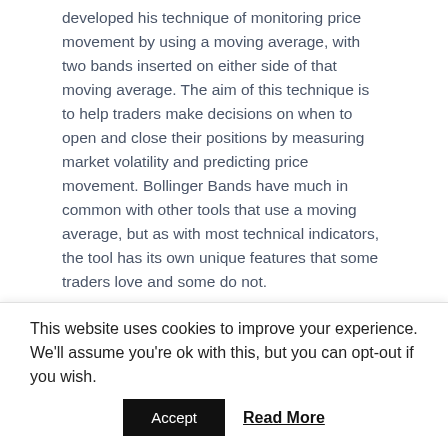developed his technique of monitoring price movement by using a moving average, with two bands inserted on either side of that moving average. The aim of this technique is to help traders make decisions on when to open and close their positions by measuring market volatility and predicting price movement. Bollinger Bands have much in common with other tools that use a moving average, but as with most technical indicators, the tool has its own unique features that some traders love and some do not.
Bollinger Bands can monitor the price movement of any asset in any market and are widely popular in many different types of trading, including CFD trading and forex trading. The bands create a strong picture of market volatility. When the market is relatively quiet and stable, then the bands are close together. When price movement occurs, they start to spread further apart.
This website uses cookies to improve your experience. We'll assume you're ok with this, but you can opt-out if you wish.